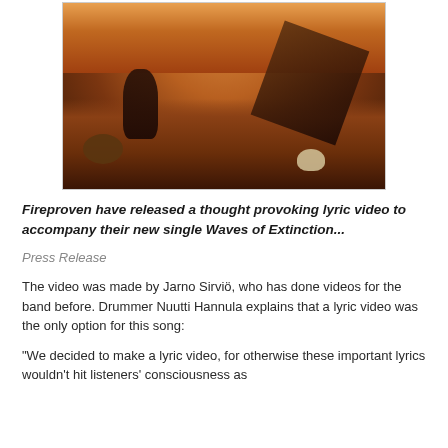[Figure (photo): Post-apocalyptic desert scene with a figure kneeling near a toppled metal structure, with animal skulls and rocks scattered on red desert sand, warm orange sunset sky in background]
Fireproven have released a thought provoking lyric video to accompany their new single Waves of Extinction...
Press Release
The video was made by Jarno Sirviö, who has done videos for the band before. Drummer Nuutti Hannula explains that a lyric video was the only option for this song:
“We decided to make a lyric video, for otherwise these important lyrics wouldn’t hit listeners’ consciousness as